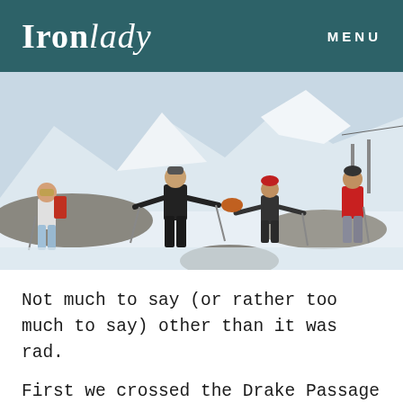Ironlady   MENU
[Figure (photo): Four skiers posing on a snowy mountain slope with ski poles, mountains and ski lifts visible in the background. One person wears a red jacket, one in all black, one in light blue pants, and one in dark gear.]
Not much to say (or rather too much to say) other than it was rad.
First we crossed the Drake Passage for 2